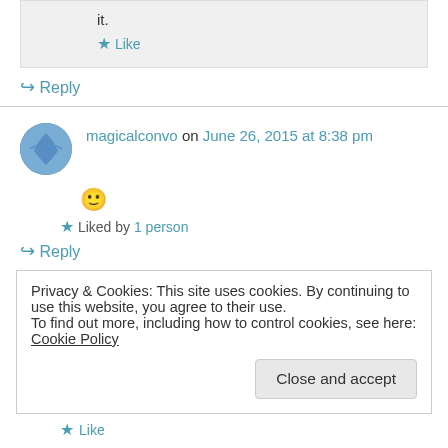it.
★ Like
↪ Reply
magicalconvo on June 26, 2015 at 8:38 pm
🙂
★ Liked by 1 person
↪ Reply
Privacy & Cookies: This site uses cookies. By continuing to use this website, you agree to their use.
To find out more, including how to control cookies, see here: Cookie Policy
Close and accept
★ Like